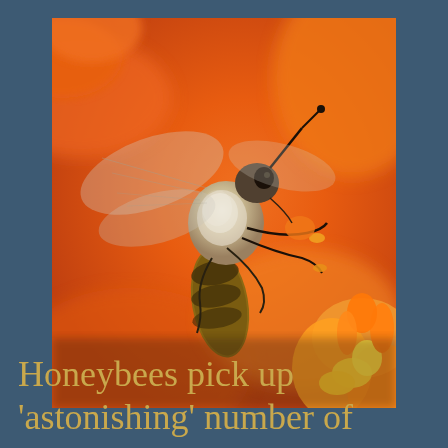[Figure (photo): Close-up macro photograph of a honeybee on orange flowers. The bee is shown in sharp focus with detailed view of its fuzzy body, wings, legs, and head. The background shows blurred orange flower petals.]
Honeybees pick up 'astonishing' number of